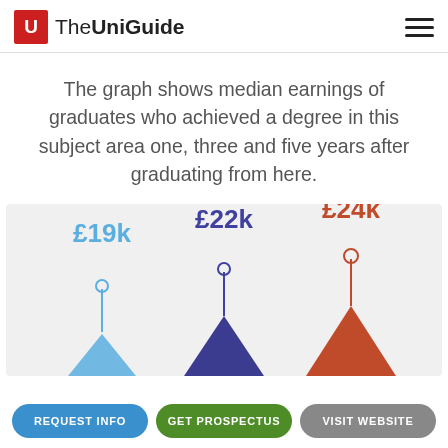The UniGuide
The graph shows median earnings of graduates who achieved a degree in this subject area one, three and five years after graduating from here.
[Figure (other): Chart showing median graduate earnings at 1, 3, and 5 years after graduating. Three triangle/pin markers at £19k (blue, 1 year), £22k (dark purple, 3 years), £24k (orange-red, 5 years).]
REQUEST INFO | GET PROSPECTUS | VISIT WEBSITE